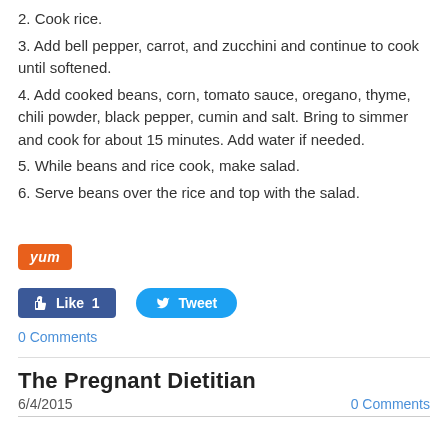2. Cook rice.
3. Add bell pepper, carrot, and zucchini and continue to cook until softened.
4. Add cooked beans, corn, tomato sauce, oregano, thyme, chili powder, black pepper, cumin and salt. Bring to simmer      and cook for about 15 minutes. Add water if needed.
5. While beans and rice cook, make salad.
6. Serve beans over the rice and top with the salad.
[Figure (screenshot): Social sharing buttons: Yum (orange), Like 1 (Facebook blue), Tweet (Twitter blue)]
0 Comments
The Pregnant Dietitian
6/4/2015    0 Comments